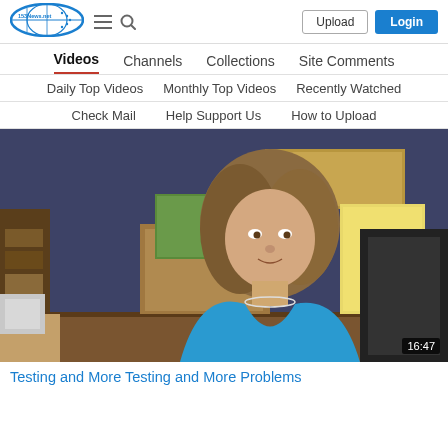[Figure (logo): 153News.net logo — blue oval with globe/network icon and site name]
Upload | Login
Videos | Channels | Collections | Site Comments
Daily Top Videos | Monthly Top Videos | Recently Watched
Check Mail | Help Support Us | How to Upload
[Figure (screenshot): Video thumbnail showing a woman in a blue top sitting in an office chair at a desk, blue wall background, various items on shelf behind her. Duration overlay: 16:47]
Testing and More Testing and More Problems